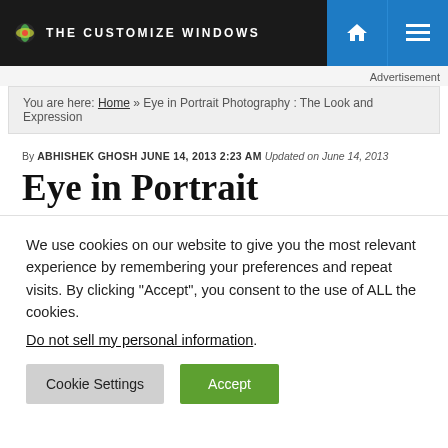THE CUSTOMIZE WINDOWS
Advertisement
You are here: Home » Eye in Portrait Photography : The Look and Expression
By ABHISHEK GHOSH JUNE 14, 2013 2:23 AM Updated on June 14, 2013
Eye in Portrait
We use cookies on our website to give you the most relevant experience by remembering your preferences and repeat visits. By clicking "Accept", you consent to the use of ALL the cookies.
Do not sell my personal information.
Cookie Settings  Accept